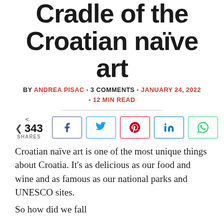Cradle of the Croatian naïve art
BY ANDREA PISAC - 3 COMMENTS - JANUARY 24, 2022 - 12 MIN READ
343 SHARES
Croatian naïve art is one of the most unique things about Croatia. It's as delicious as our food and wine and as famous as our national parks and UNESCO sites.
So how did we fall...